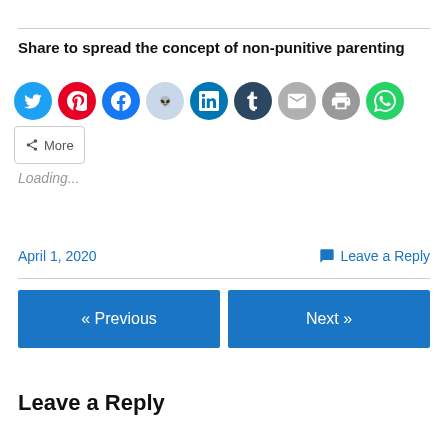Share to spread the concept of non-punitive parenting
[Figure (other): Row of social media share buttons: Twitter (blue), Pinterest (red), Facebook (blue), Reddit (light blue), LinkedIn (dark blue), Tumblr (dark navy), Email (grey), Print (grey), WhatsApp (green), and a More button]
Loading...
April 1, 2020   Leave a Reply
« Previous   Next »
Leave a Reply